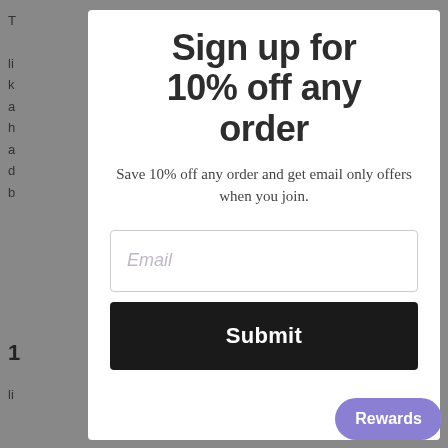Sign up for 10% off any order
Save 10% off any order and get email only offers when you join.
Email
Submit
Rewards